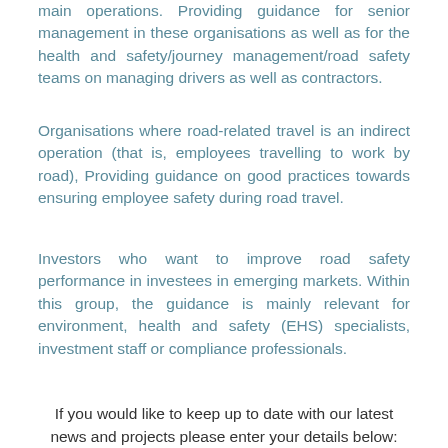main operations. Providing guidance for senior management in these organisations as well as for the health and safety/journey management/road safety teams on managing drivers as well as contractors.
Organisations where road-related travel is an indirect operation (that is, employees travelling to work by road), Providing guidance on good practices towards ensuring employee safety during road travel.
Investors who want to improve road safety performance in investees in emerging markets. Within this group, the guidance is mainly relevant for environment, health and safety (EHS) specialists, investment staff or compliance professionals.
If you would like to keep up to date with our latest news and projects please enter your details below: